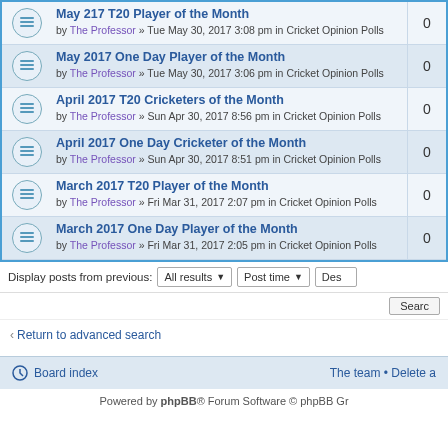May 217 T20 Player of the Month — by The Professor » Tue May 30, 2017 3:08 pm in Cricket Opinion Polls — 0
May 2017 One Day Player of the Month — by The Professor » Tue May 30, 2017 3:06 pm in Cricket Opinion Polls — 0
April 2017 T20 Cricketers of the Month — by The Professor » Sun Apr 30, 2017 8:56 pm in Cricket Opinion Polls — 0
April 2017 One Day Cricketer of the Month — by The Professor » Sun Apr 30, 2017 8:51 pm in Cricket Opinion Polls — 0
March 2017 T20 Player of the Month — by The Professor » Fri Mar 31, 2017 2:07 pm in Cricket Opinion Polls — 0
March 2017 One Day Player of the Month — by The Professor » Fri Mar 31, 2017 2:05 pm in Cricket Opinion Polls — 0
Display posts from previous: All results Post time Des
Search
Return to advanced search
Board index • The team • Delete a
Powered by phpBB® Forum Software © phpBB Gr